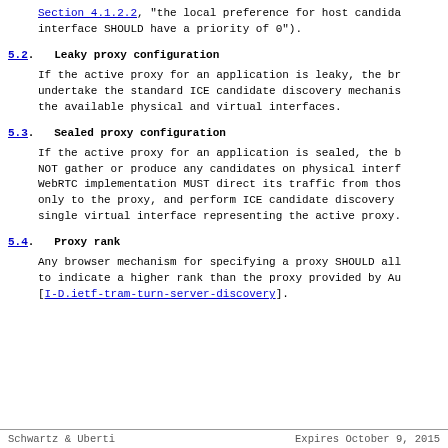Section 4.1.2.2, "the local preference for host candidate interface SHOULD have a priority of 0").
5.2.  Leaky proxy configuration
If the active proxy for an application is leaky, the br undertake the standard ICE candidate discovery mechanis the available physical and virtual interfaces.
5.3.  Sealed proxy configuration
If the active proxy for an application is sealed, the b NOT gather or produce any candidates on physical interf WebRTC implementation MUST direct its traffic from thos only to the proxy, and perform ICE candidate discovery single virtual interface representing the active proxy.
5.4.  Proxy rank
Any browser mechanism for specifying a proxy SHOULD all to indicate a higher rank than the proxy provided by Au [I-D.ietf-tram-turn-server-discovery].
Schwartz & Uberti          Expires October 9, 2015